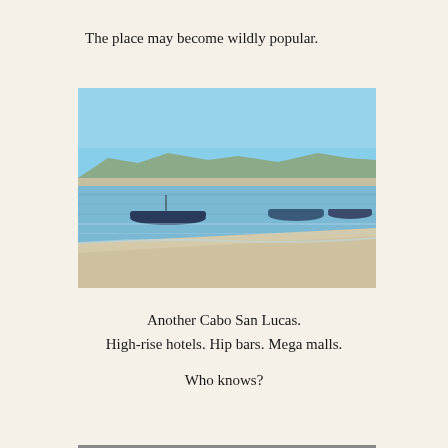The place may become wildly popular.
[Figure (photo): A calm coastal bay with small fishing boats on shallow blue water, sandy shoreline in the foreground, mountains and trees visible in the background under a clear blue sky.]
Another Cabo San Lucas.
High-rise hotels. Hip bars. Mega malls.

Who knows?